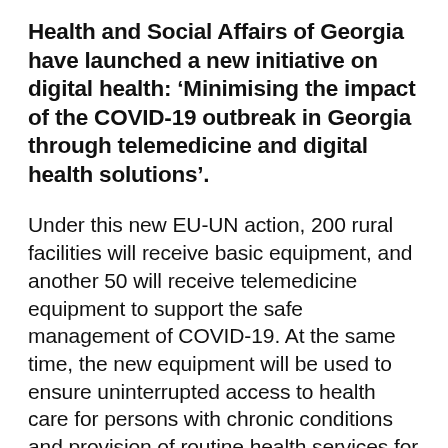Health and Social Affairs of Georgia have launched a new initiative on digital health: ‘Minimising the impact of the COVID-19 outbreak in Georgia through telemedicine and digital health solutions’.
Under this new EU-UN action, 200 rural facilities will receive basic equipment, and another 50 will receive telemedicine equipment to support the safe management of COVID-19. At the same time, the new equipment will be used to ensure uninterrupted access to health care for persons with chronic conditions and provision of routine health services for